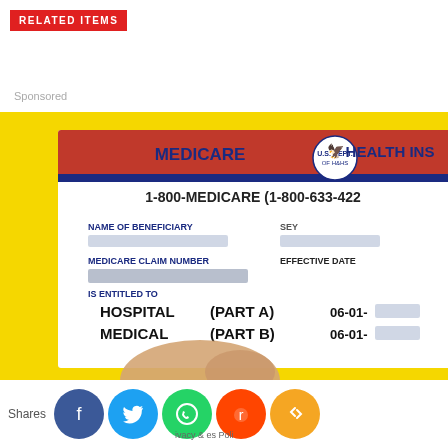RELATED ITEMS
Sponsored
[Figure (photo): Photo of a Medicare Health Insurance card being held, showing: MEDICARE HEALTH INS header with red/blue stripes and HHS eagle seal, phone number 1-800-MEDICARE (1-800-633-4222), NAME OF BENEFICIARY field (redacted), MEDICARE CLAIM NUMBER field (redacted), SEX field (SEY redacted), EFFECTIVE DATE field, IS ENTITLED TO: HOSPITAL (PART A) 06-01-[redacted], MEDICAL (PART B) 06-01-[redacted]. Card is against a yellow background, held by a hand.]
Shares
ivacy & es Poli